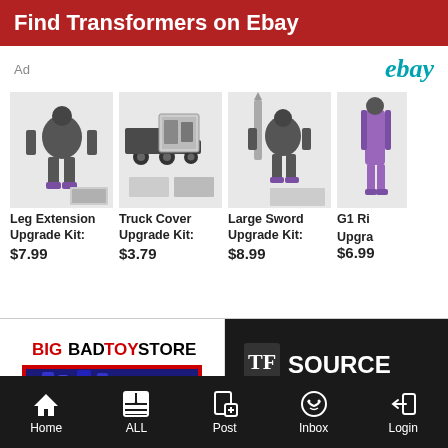Find Transformers on Ebay
Ad
[Figure (screenshot): eBay logo in teal italic font]
[Figure (photo): Leg Extension Upgrade Kit transformer product image with TF badge]
Leg Extension Upgrade Kit:
$7.99
[Figure (photo): Truck Cover Upgrade Kit transformer product image with TF badge]
Truck Cover Upgrade Kit:
$3.79
[Figure (photo): Large Sword Upgrade Kit transformer product image with TF badge]
Large Sword Upgrade Kit:
$8.99
[Figure (photo): G1 Ri Upgrade Kit transformer product image with TF badge (partially cut off)]
G1 Ri Upgra
$6.99
[Figure (logo): BigBadToyStore logo with red and black text and robot imagery]
[Figure (logo): TFSource logo in black background with white and red text]
Home  ALL  Post  Inbox  Login